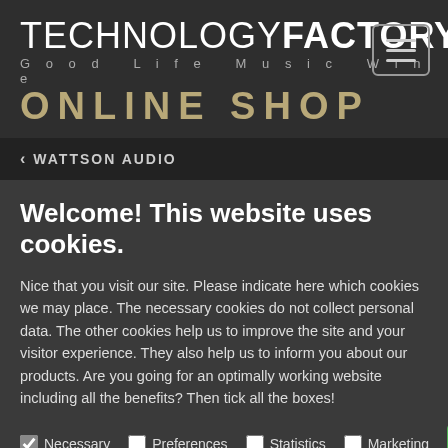TECHNOLOGY FACTORY Good Life Music Wine ONLINE SHOP
< WATTSON AUDIO
Welcome! This website uses cookies.
Nice that you visit our site. Please indicate here which cookies we may place. The necessary cookies do not collect personal data. The other cookies help us to improve the site and your visitor experience. They also help us to inform you about our products. Are you going for an optimally working website including all the benefits? Then tick all the boxes!
Necessary (checked), Preferences, Statistics, Marketing
Save